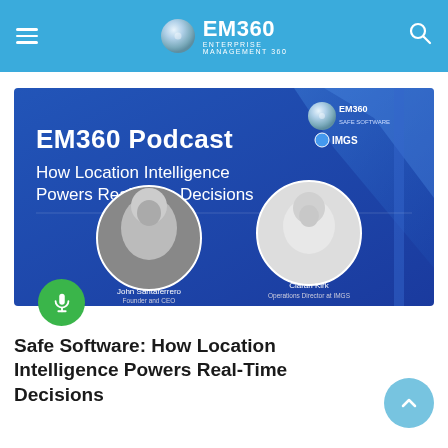EM360 ENTERPRISE MANAGEMENT 360
[Figure (photo): EM360 Podcast banner image: 'How Location Intelligence Powers Real-Time Decisions' featuring John Santaferrero, Founder and CEO at Ferraro Consulting, and Ciaran Kirk, Operations Director at IMGS. Logos of EM360, Safe Software, and IMGS shown in the upper right. Blue background with diagonal design elements.]
Safe Software: How Location Intelligence Powers Real-Time Decisions
4d ago